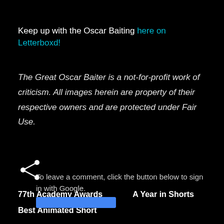Keep up with the Oscar Baiting here on Letterboxd!
The Great Oscar Baiter is a not-for-profit work of criticism. All images herein are property of their respective owners and are protected under Fair Use.
[Figure (illustration): Share icon (less-than sign style arrow icon)]
77th Academy Awards
A Year in Shorts
Best Animated Short
To leave a comment, click the button below to sign in with Google.